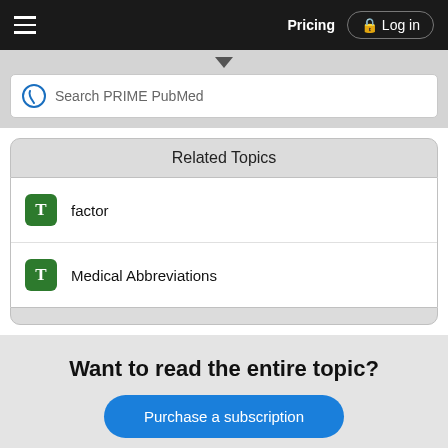Pricing  Log in
Search PRIME PubMed
Related Topics
factor
Medical Abbreviations
Want to read the entire topic?
Purchase a subscription
I'm already a subscriber
Browse sample topics